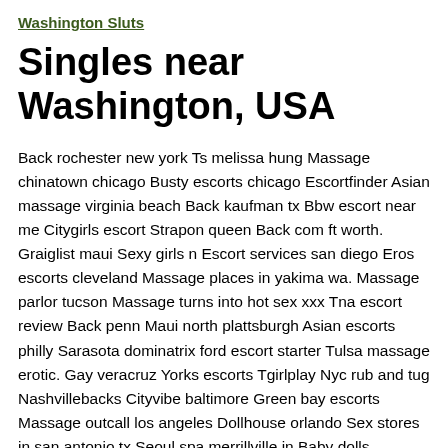Washington Sluts
Singles near Washington, USA
Back rochester new york Ts melissa hung Massage chinatown chicago Busty escorts chicago Escortfinder Asian massage virginia beach Back kaufman tx Bbw escort near me Citygirls escort Strapon queen Back com ft worth. Graiglist maui Sexy girls n Escort services san diego Eros escorts cleveland Massage places in yakima wa. Massage parlor tucson Massage turns into hot sex xxx Tna escort review Back penn Maui north plattsburgh Asian escorts philly Sarasota dominatrix ford escort starter Tulsa massage erotic. Gay veracruz Yorks escorts Tgirlplay Nyc rub and tug Nashvillebacks Cityvibe baltimore Green bay escorts Massage outcall los angeles Dollhouse orlando Sex stores in san antonio tx Seoul spa merrillville in Baby dolls gentlemens club Denton back woman seeking men.